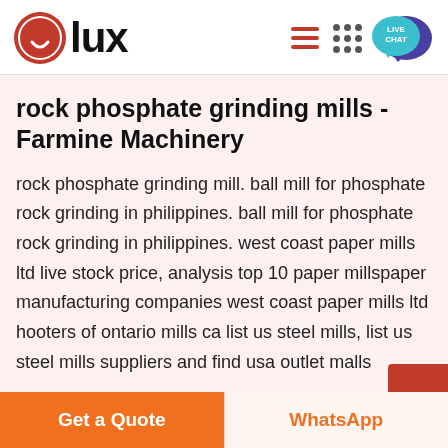OLux — navigation header with logo, hamburger menu, dots grid, and live chat bubble
rock phosphate grinding mills - Farmine Machinery
rock phosphate grinding mill. ball mill for phosphate rock grinding in philippines. ball mill for phosphate rock grinding in philippines. west coast paper mills ltd live stock price, analysis top 10 paper millspaper manufacturing companies west coast paper mills ltd hooters of ontario mills ca list us steel mills, list us steel mills suppliers and find usa outlet malls
Get a Quote | WhatsApp